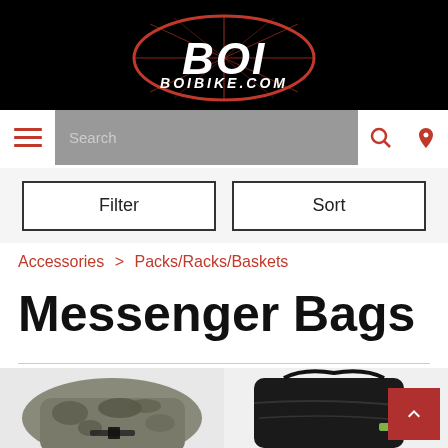[Figure (logo): BOI BOIBIKE.COM logo — white bold italic text on black background with a red bicycle wheel/oval graphic]
[Figure (screenshot): Navigation bar with hamburger menu (red lines), grey search box with 'Search' placeholder text, red search icon and red location pin icon]
[Figure (screenshot): Filter and Sort buttons side by side on light grey background]
Accessories > Packs/Racks/Baskets
Messenger Bags
[Figure (photo): Two partial product images: left shows a camouflage/grey messenger bag; right shows a black messenger bag. A red 'back to top' button with upward chevron is visible in the bottom right corner.]